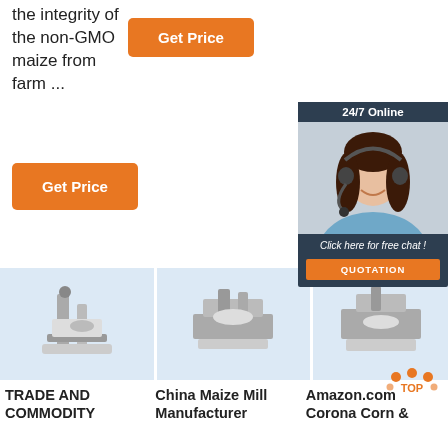the integrity of the non-GMO maize from farm ...
[Figure (screenshot): Orange 'Get Price' button (top)]
[Figure (screenshot): Orange 'Get Price' button (bottom left)]
[Figure (photo): Customer service chat widget with agent photo, '24/7 Online' header, 'Click here for free chat!' text, and orange QUOTATION button]
[Figure (photo): Industrial maize milling machine product image 1]
[Figure (photo): Industrial maize milling machine product image 2]
[Figure (photo): Industrial milling machine product image 3]
TRADE AND COMMODITY
China Maize Mill Manufacturer
Amazon.com Corona Corn &